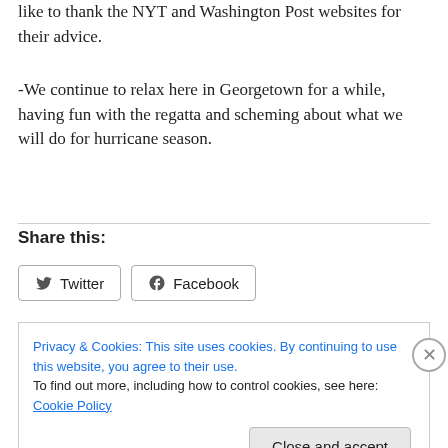like to thank the NYT and Washington Post websites for their advice.
-We continue to relax here in Georgetown for a while, having fun with the regatta and scheming about what we will do for hurricane season.
Share this:
[Figure (other): Social share buttons: Twitter and Facebook]
Privacy & Cookies: This site uses cookies. By continuing to use this website, you agree to their use.
To find out more, including how to control cookies, see here: Cookie Policy
Close and accept